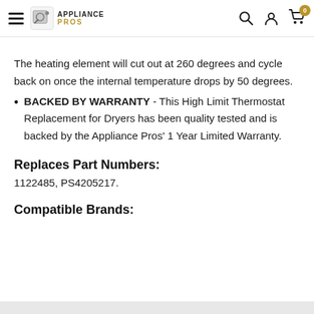APPLIANCE PROS — navigation header with menu, logo, search, account, cart (0)
The heating element will cut out at 260 degrees and cycle back on once the internal temperature drops by 50 degrees.
BACKED BY WARRANTY - This High Limit Thermostat Replacement for Dryers has been quality tested and is backed by the Appliance Pros' 1 Year Limited Warranty.
Replaces Part Numbers:
1122485, PS4205217.
Compatible Brands: